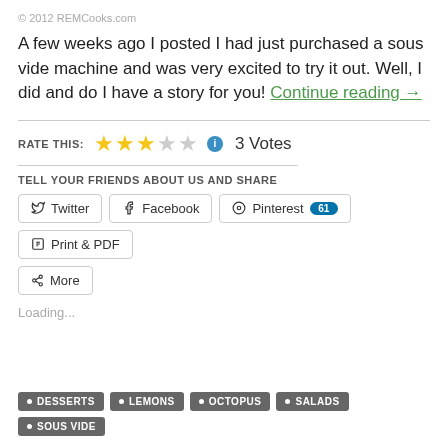© 2012 REMCooks.com
A few weeks ago I posted I had just purchased a sous vide machine and was very excited to try it out. Well, I did and do I have a story for you! Continue reading →
RATE THIS: ★★★☆☆ ℹ 3 Votes
TELL YOUR FRIENDS ABOUT US AND SHARE
Twitter | Facebook | Pinterest 61 | Print & PDF
More
Loading...
DESSERTS
LEMONS
OCTOPUS
SALADS
SOUS VIDE